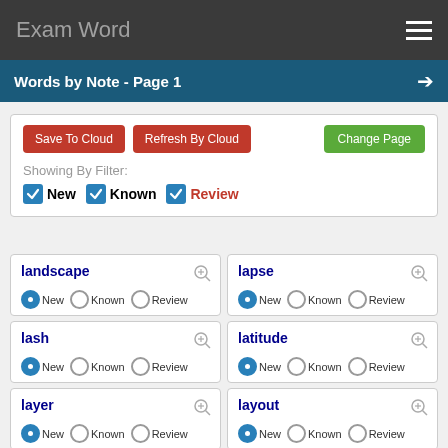Exam Word
Words by Note - Page 1
Save To Cloud | Refresh By Cloud | Change Page
Showing By Filter: New Known Review
landscape — New/Known/Review
lapse — New/Known/Review
lash — New/Known/Review
latitude — New/Known/Review
layer — New/Known/Review
layout — New/Known/Review
legislation — New/Known/Review
lever — New/Known/Review